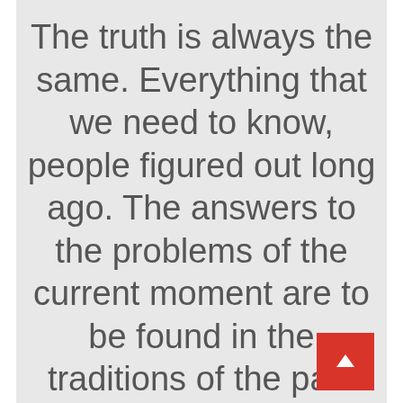The truth is always the same. Everything that we need to know, people figured out long ago. The answers to the problems of the current moment are to be found in the traditions of the past